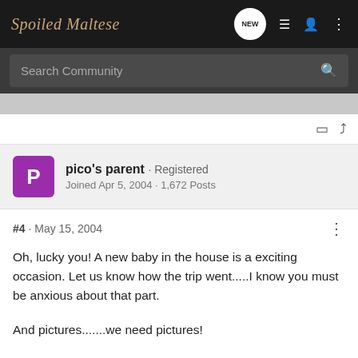Spoiled Maltese
Search Community
pico's parent · Registered
Joined Apr 5, 2004 · 1,672 Posts
#4 · May 15, 2004
Oh, lucky you! A new baby in the house is a exciting occasion. Let us know how the trip went.....I know you must be anxious about that part.

And pictures.......we need pictures!